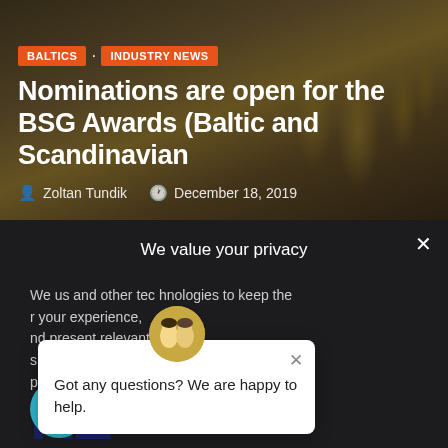[Figure (screenshot): Hero image area with golden award trophies in background, dark overlay with orange category tags, article title, and author/date metadata]
Nominations are open for the BSG Awards (Baltic and Scandinavian
Zoltan Tundik   December 18, 2019
We value your privacy
We use and other technologies to keep the r your experience, nd present relevant s described in our privacy policy okie policy.
Got any questions? We are happy to help.
› Privacy Preferences
I Agree